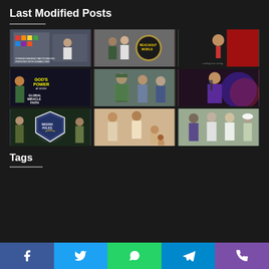Last Modified Posts
[Figure (photo): 3x3 grid of thumbnail photos: row 1: man at conference with disability SDG poster, two men with Reachout World logo, man in red chair suit; row 2: God's Power Global Miracle Faith event banner, military officer with two men, preacher in purple suit; row 3: Nigeria Police shield with soldiers, group with person bending, group of people outdoors]
Tags
Facebook | Twitter | WhatsApp | Telegram | Phone social share bar